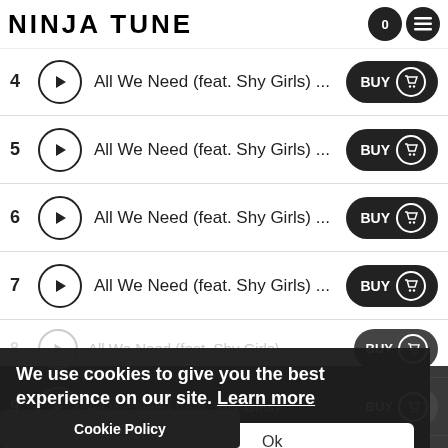NINJA TUNE
4  All We Need (feat. Shy Girls) ...  BUY
5  All We Need (feat. Shy Girls) ...  BUY
6  All We Need (feat. Shy Girls) ...  BUY
7  All We Need (feat. Shy Girls) ...  BUY
8  All We Need (feat. Shy Girls) ...  BUY
9  All We Need (feat. Shy Girls) ...  BUY
10  All We Need (feat. Shy Girls) ...  BUY
11  Shy Girls ...  BUY
We use cookies to give you the best experience on our site. Learn more
No thanks   Ok
Cookie Policy